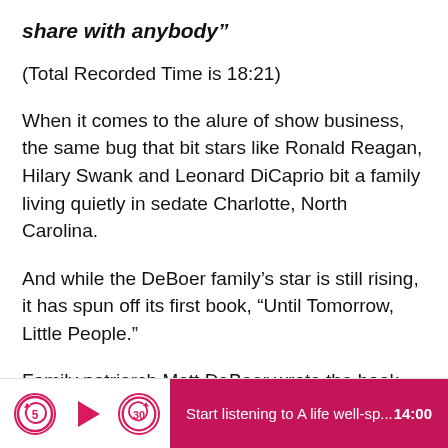share with anybody”
(Total Recorded Time is 18:21)
When it comes to the alure of show business, the same bug that bit stars like Ronald Reagan, Hilary Swank and Leonard DiCaprio bit a family living quietly in sedate Charlotte, North Carolina.
And while the DeBoer family’s star is still rising, it has spun off its first book, “Until Tomorrow, Little People.”
Family patriarch Matt DeBoer wrote the book
Start listening to A life well-sp...  14:00